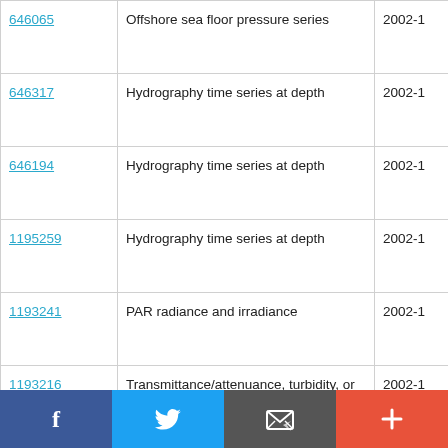| ID | Description | Date |
| --- | --- | --- |
| 646065 | Offshore sea floor pressure series | 2002-1 |
| 646317 | Hydrography time series at depth | 2002-1 |
| 646194 | Hydrography time series at depth | 2002-1 |
| 1195259 | Hydrography time series at depth | 2002-1 |
| 1193241 | PAR radiance and irradiance | 2002-1 |
| 1193216 | Transmittance/attenuance, turbidity, or SPM conc. | 2002-1 |
| 1193228 | Water column chemistry | 2002-1 |